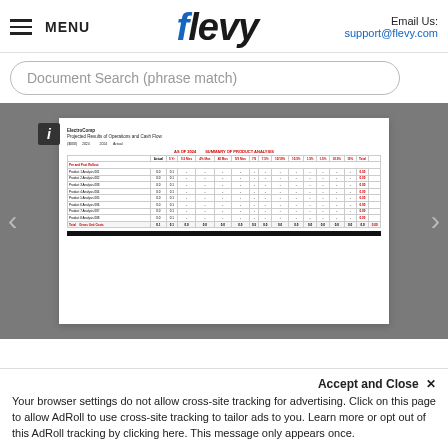MENU | flevy | Email Us: support@flevy.com
Document Search (phrase match)
[Figure (screenshot): Flevy document viewer showing a financial projected results of operations and cash flow table with red and black headers, product analysis rows, and totals row. Navigation arrows on left and right. Info button top-left of document.]
Accept and Close ×
Your browser settings do not allow cross-site tracking for advertising. Click on this page to allow AdRoll to use cross-site tracking to tailor ads to you. Learn more or opt out of this AdRoll tracking by clicking here. This message only appears once.